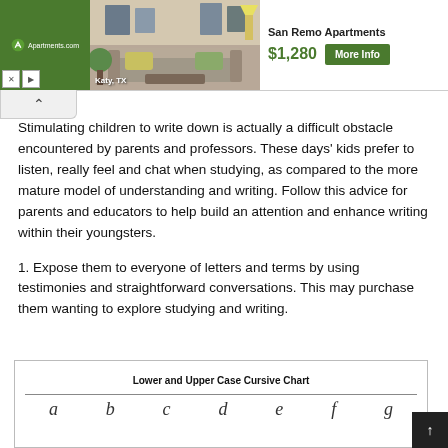[Figure (screenshot): Apartments.com advertisement banner for San Remo Apartments in Katy, TX. Shows a furnished living room photo, price $1,280, and a green 'More Info' button.]
Stimulating children to write down is actually a difficult obstacle encountered by parents and professors. These days' kids prefer to listen, really feel and chat when studying, as compared to the more mature model of understanding and writing. Follow this advice for parents and educators to help build an attention and enhance writing within their youngsters.
1. Expose them to everyone of letters and terms by using testimonies and straightforward conversations. This may purchase them wanting to explore studying and writing.
[Figure (table-as-image): Lower and Upper Case Cursive Chart - partial view showing the chart title and top border with cursive letters beginning to appear.]